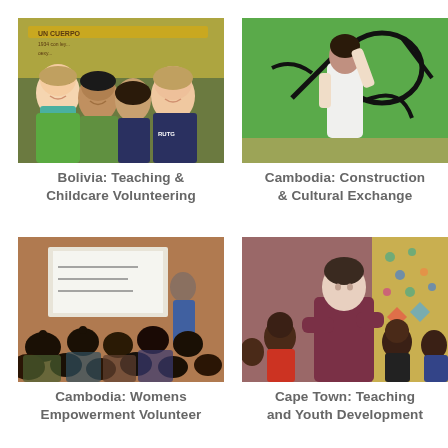[Figure (photo): Group of young women smiling together outdoors in front of a sign with Spanish text, wearing green jackets and teal scarves — Bolivia volunteer program]
Bolivia: Teaching & Childcare Volunteering
[Figure (photo): Person from behind painting or drawing on a large green surface with black line art — Cambodia construction and cultural exchange]
Cambodia: Construction & Cultural Exchange
[Figure (photo): Classroom scene with children seated at desks viewed from behind, teacher and whiteboard in background — Cambodia womens empowerment volunteer]
Cambodia: Womens Empowerment Volunteer
[Figure (photo): Young woman with arms crossed standing against a wall with children around her — Cape Town teaching and youth development]
Cape Town: Teaching and Youth Development